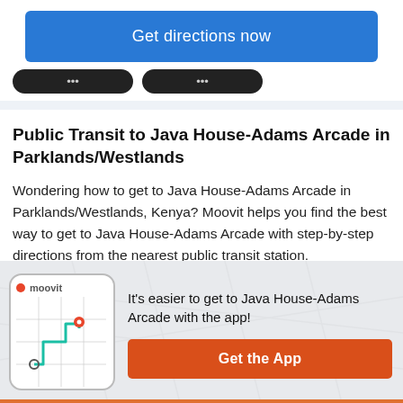[Figure (screenshot): Blue 'Get directions now' button at top of page]
[Figure (screenshot): Two dark pill-shaped tab buttons partially visible]
Public Transit to Java House-Adams Arcade in Parklands/Westlands
Wondering how to get to Java House-Adams Arcade in Parklands/Westlands, Kenya? Moovit helps you find the best way to get to Java House-Adams Arcade with step-by-step directions from the nearest public transit station.
Moovit provides free maps and live directions to help you navigate through your city. View schedules, routes,
[Figure (screenshot): Moovit app promotional banner with phone illustration showing map with route, and 'Get the App' orange button]